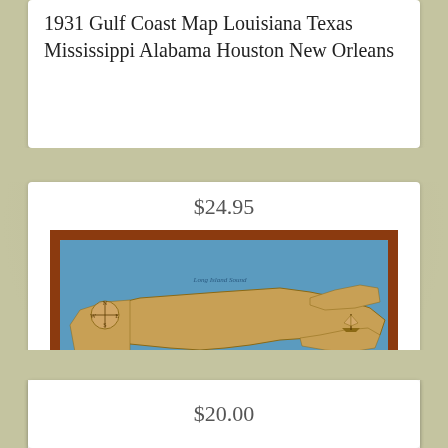1931 Gulf Coast Map Louisiana Texas Mississippi Alabama Houston New Orleans
$24.95
[Figure (map): Vintage illustrated map of Long Island, New York from the 1930s. Shows Long Island Sound to the north, Atlantic Ocean to the south, with decorative border and a scroll reading 'A Map of Long Island'.]
"A Map of Long Island" NY 1930s Historic Wall Map - 24x36
$20.00